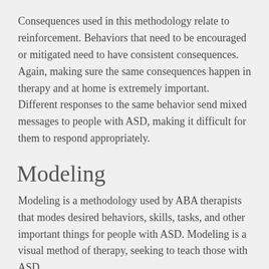Consequences used in this methodology relate to reinforcement. Behaviors that need to be encouraged or mitigated need to have consistent consequences. Again, making sure the same consequences happen in therapy and at home is extremely important. Different responses to the same behavior send mixed messages to people with ASD, making it difficult for them to respond appropriately.
Modeling
Modeling is a methodology used by ABA therapists that modes desired behaviors, skills, tasks, and other important things for people with ASD. Modeling is a visual method of therapy, seeking to teach those with ASD